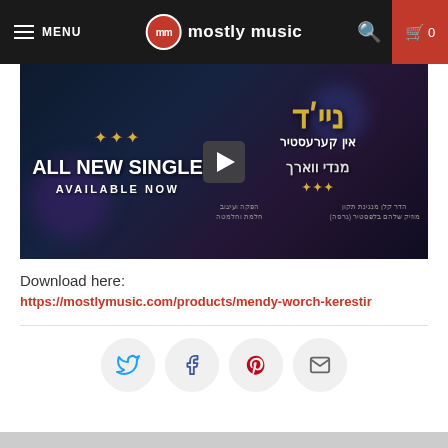MENU | mostly music | 0
[Figure (screenshot): Music video thumbnail showing 'All New Single Available Now' with Hebrew text and a play button overlay on a dark blue/purple background]
Download here:
https://mostlymusic.com/products/mendy-worch-kerestir
[Figure (infographic): Social sharing buttons: Twitter, Facebook, Pinterest, Email in circle icons]